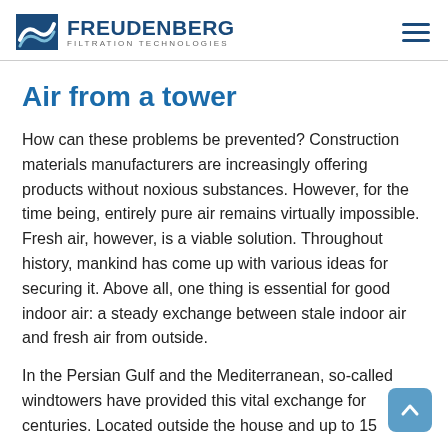FREUDENBERG FILTRATION TECHNOLOGIES
Air from a tower
How can these problems be prevented? Construction materials manufacturers are increasingly offering products without noxious substances. However, for the time being, entirely pure air remains virtually impossible. Fresh air, however, is a viable solution. Throughout history, mankind has come up with various ideas for securing it. Above all, one thing is essential for good indoor air: a steady exchange between stale indoor air and fresh air from outside.
In the Persian Gulf and the Mediterranean, so-called windtowers have provided this vital exchange for centuries. Located outside the house and up to 15